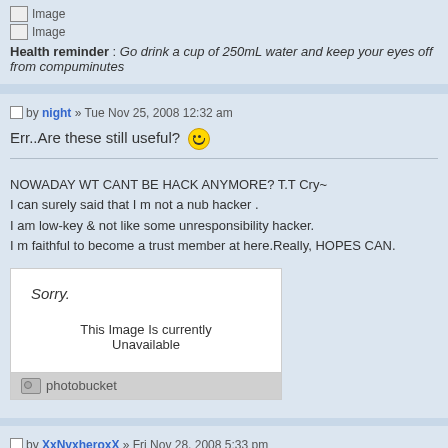Image
Image
Health reminder : Go drink a cup of 250mL water and keep your eyes off from computer for a few minutes
by night » Tue Nov 25, 2008 12:32 am
Err..Are these still useful? :)
NOWADAY WT CANT BE HACK ANYMORE? T.T Cry~
I can surely said that I m not a nub hacker .
I am low-key & not like some unresponsibility hacker.
I m faithful to become a trust member at here.Really, HOPES CAN.
[Figure (other): Photobucket image unavailable placeholder showing 'Sorry. This Image Is currently Unavailable' with photobucket logo footer]
by XxNyxheroxX » Fri Nov 28, 2008 5:33 pm